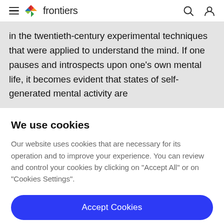frontiers
in the twentieth-century experimental techniques that were applied to understand the mind. If one pauses and introspects upon one's own mental life, it becomes evident that states of self-generated mental activity are
We use cookies
Our website uses cookies that are necessary for its operation and to improve your experience. You can review and control your cookies by clicking on "Accept All" or on "Cookies Settings".
Accept Cookies
Cookies Settings